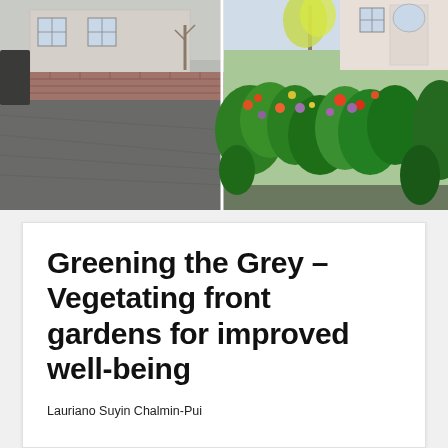[Figure (photo): Side-by-side photos: left shows a paved front garden/driveway with grey tarmac and a brick wall of a house; right shows the same or similar front garden area transformed with lush green and colourful planting including flowers and shrubs.]
Greening the Grey – Vegetating front gardens for improved well-being
Lauriano Suyin Chalmin-Pui